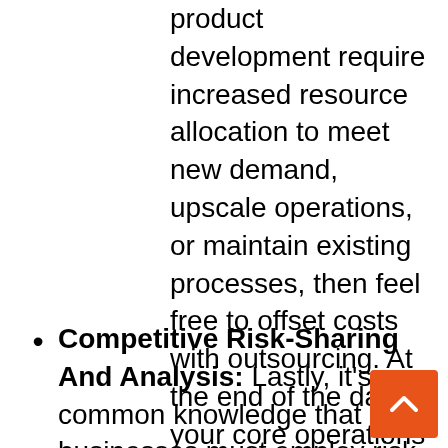product development require increased resource allocation to meet new demand, upscale operations, or maintain existing processes, then feel free to offset costs with outsourcing. At the end of the day, your core operations define your business, and your general operations should not impede the progress and sustainability of your overall business objectives. So, if sunk costs rise and trends change, don't hesitate to adapt.
Competitive Risk-Sharing And Analysis: Lastly, it's common knowledge that businesses must employ risk-averse strategies during volatile market circumstances, but given the current bullish run of the economy and not-so-clement financial be...